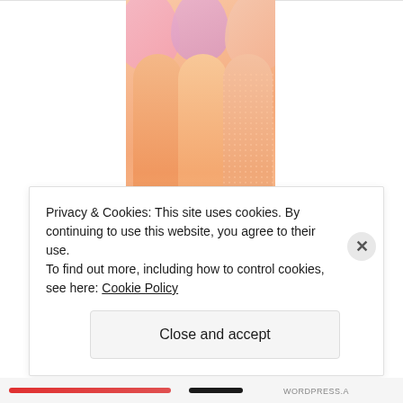[Figure (illustration): WordPress VIP advertisement banner with gradient orange/peach background, decorative rounded finger-like columns and blobs, a 'Learn more →' button in black pill shape, and the WordPress VIP logo at the bottom.]
Privacy & Cookies: This site uses cookies. By continuing to use this website, you agree to their use.
To find out more, including how to control cookies, see here: Cookie Policy
Close and accept
WORDPRESS.A